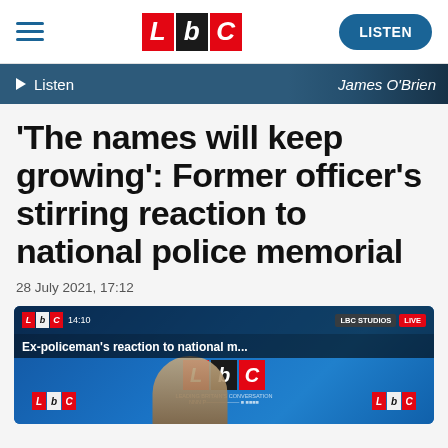LBC — LISTEN
▶ Listen    James O'Brien
'The names will keep growing': Former officer's stirring reaction to national police memorial
28 July 2021, 17:12
[Figure (screenshot): Video thumbnail showing LBC studio with a presenter wearing headphones. Caption reads: Ex-policeman's reaction to national m... LBC STUDIOS LIVE badges visible in top right.]